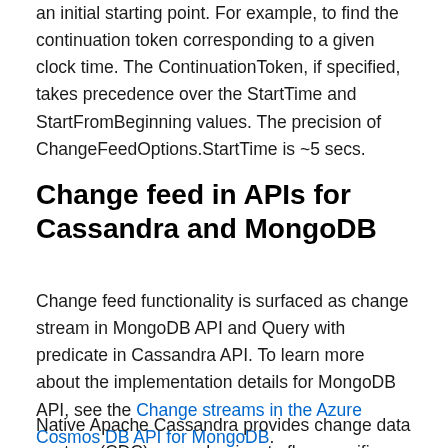an initial starting point. For example, to find the continuation token corresponding to a given clock time. The ContinuationToken, if specified, takes precedence over the StartTime and StartFromBeginning values. The precision of ChangeFeedOptions.StartTime is ~5 secs.
Change feed in APIs for Cassandra and MongoDB
Change feed functionality is surfaced as change stream in MongoDB API and Query with predicate in Cassandra API. To learn more about the implementation details for MongoDB API, see the Change streams in the Azure Cosmos DB API for MongoDB.
Native Apache Cassandra provides change data capture (CDC), a mechanism to flag specific tables for archival as